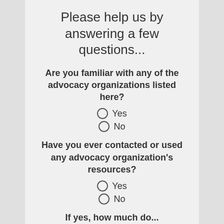Please help us by answering a few questions...
Are you familiar with any of the advocacy organizations listed here?
Yes
No
Have you ever contacted or used any advocacy organization's resources?
Yes
No
If yes, how much do...